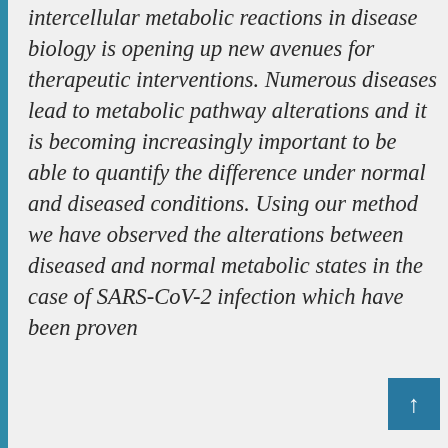Analysis of the rates of all intercellular metabolic reactions in disease biology is opening up new avenues for therapeutic interventions. Numerous diseases lead to metabolic pathway alterations and it is becoming increasingly important to be able to quantify the difference under normal and diseased conditions. Using our method we have observed the alterations between diseased and normal metabolic states in the case of SARS-CoV-2 infection which have been proven